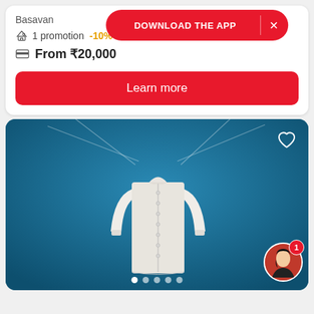Basavan
DOWNLOAD THE APP
1 promotion -10%
From ₹20,000
Learn more
[Figure (photo): White long-sleeve button-up shirt displayed on a blue background with string lines radiating outward, with a heart/wishlist icon in top right, carousel dots at bottom, and a user avatar with notification badge in the bottom right corner.]